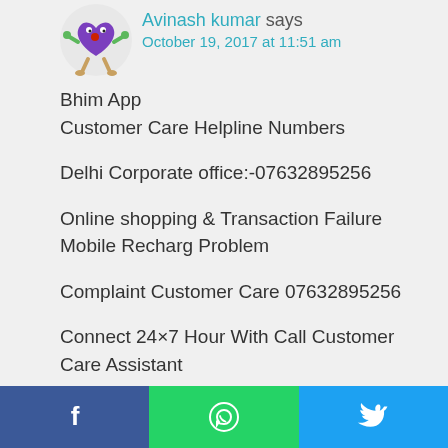Avinash kumar says
October 19, 2017 at 11:51 am
Bhim App
Customer Care Helpline Numbers
Delhi Corporate office:-07632895256
Online shopping & Transaction Failure
Mobile Recharg Problem
Complaint Customer Care 07632895256
Connect 24×7 Hour With Call Customer Care Assistant